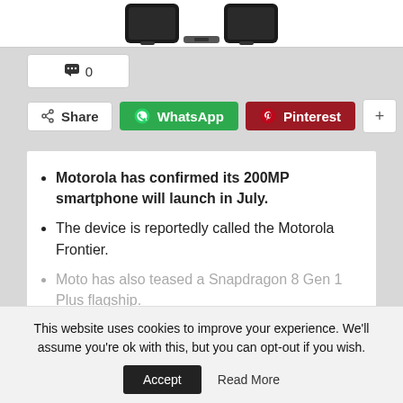[Figure (photo): Partial view of smartphones at the top of the page, cropped]
💬 0
< Share   WhatsApp   Pinterest   +
Motorola has confirmed its 200MP smartphone will launch in July.
The device is reportedly called the Motorola Frontier.
Moto has also teased a Snapdragon 8 Gen 1 Plus flagship.
CONTINUE READING
This website uses cookies to improve your experience. We'll assume you're ok with this, but you can opt-out if you wish.
Accept   Read More